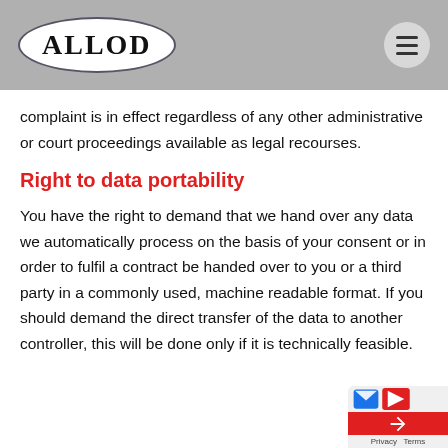ALLOD
complaint is in effect regardless of any other administrative or court proceedings available as legal recourses.
Right to data portability
You have the right to demand that we hand over any data we automatically process on the basis of your consent or in order to fulfil a contract be handed over to you or a third party in a commonly used, machine readable format. If you should demand the direct transfer of the data to another controller, this will be done only if it is technically feasible.